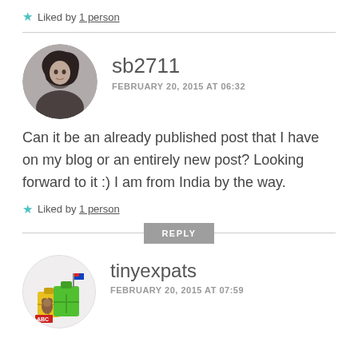★ Liked by 1 person
sb2711 — FEBRUARY 20, 2015 AT 06:32 — Can it be an already published post that I have on my blog or an entirely new post? Looking forward to it :) I am from India by the way.
★ Liked by 1 person
REPLY
tinyexpats — FEBRUARY 20, 2015 AT 07:59